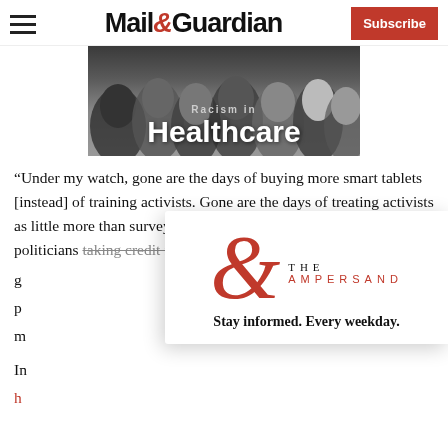Mail&Guardian — Subscribe
[Figure (illustration): Hero banner image with silhouettes of diverse people in grayscale, with bold white text reading 'Healthcare' overlaid on a dark background]
“Under my watch, gone are the days of buying more smart tablets [instead] of training activists. Gone are the days of treating activists as little more than survey workers. Gone are the days of Facebook politicians taking credit for the hard work of our activists. And g... p... m...
[Figure (logo): The Ampersand newsletter logo — large red ampersand symbol on the left with 'THE AMPERSAND' text to the right]
Stay informed. Every weekday.